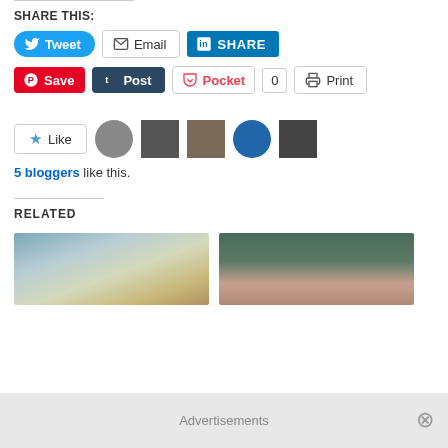SHARE THIS:
[Figure (screenshot): Social share buttons row 1: Tweet (Twitter/blue), Email (grey outline), SHARE (LinkedIn/blue)]
[Figure (screenshot): Social share buttons row 2: Save (Pinterest/red), Post (Tumblr/dark blue), Pocket with count 0, Print]
[Figure (screenshot): Like button with star icon, and 5 blogger avatar thumbnails]
5 bloggers like this.
RELATED
[Figure (photo): Photo of trees/sky with birds]
[Figure (photo): Photo of ivy-covered house with pink door]
Advertisements